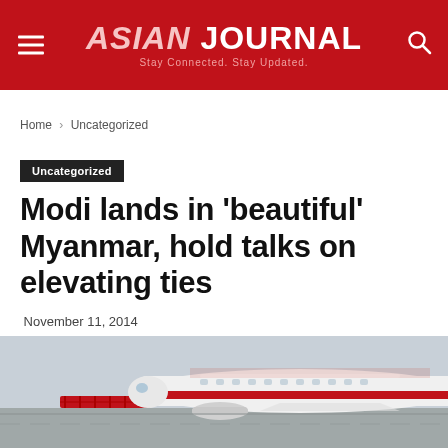ASIAN JOURNAL — Stay Connected. Stay Updated.
Home › Uncategorized
Uncategorized
Modi lands in 'beautiful' Myanmar, hold talks on elevating ties
November 11, 2014
[Figure (photo): Photograph of an airplane on the tarmac with red and white livery, stairs visible, shot from close range at ground level.]